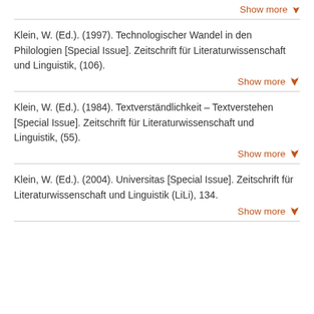Show more ▾
Klein, W. (Ed.). (1997). Technologischer Wandel in den Philologien [Special Issue]. Zeitschrift für Literaturwissenschaft und Linguistik, (106).
Show more ▾
Klein, W. (Ed.). (1984). Textverständlichkeit – Textverstehen [Special Issue]. Zeitschrift für Literaturwissenschaft und Linguistik, (55).
Show more ▾
Klein, W. (Ed.). (2004). Universitas [Special Issue]. Zeitschrift für Literaturwissenschaft und Linguistik (LiLi), 134.
Show more ▾